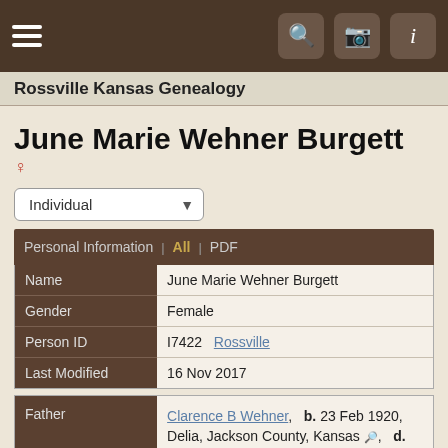Rossville Kansas Genealogy
June Marie Wehner Burgett
| Name | Gender | Person ID | Last Modified |
| --- | --- | --- | --- |
| Name | June Marie Wehner Burgett |
| Gender | Female |
| Person ID | I7422  Rossville |
| Last Modified | 16 Nov 2017 |
| Father |
| --- |
| Father | Clarence B Wehner,  b. 23 Feb 1920, Delia, Jackson County, Kansas,  d. 17 Sep 2004, Topeka, Shawnee County, Kansas  (Age 84 years) |